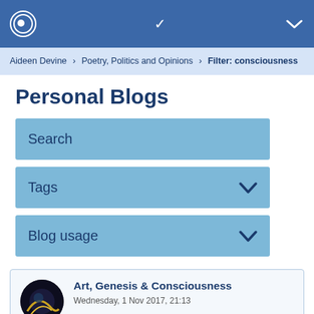Open University personal blogs navigation bar
Aideen Devine > Poetry, Politics and Opinions > Filter: consciousness
Personal Blogs
Search
Tags
Blog usage
Art, Genesis & Consciousness
Wednesday, 1 Nov 2017, 21:13